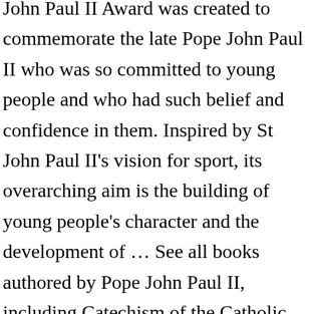John Paul II Award was created to commemorate the late Pope John Paul II who was so committed to young people and who had such belief and confidence in them. Inspired by St John Paul II's vision for sport, its overarching aim is the building of young people's character and the development of … See all books authored by Pope John Paul II, including Catechism of the Catholic Church, and Crossing the Threshold of Hope, and more on ThriftBooks.com. John Paul II Awards The Pope John Paul II Award is dedicated to the memory of the late Pope John Paul II whose love of young